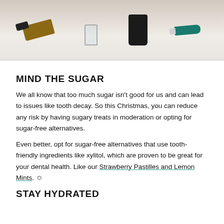[Figure (photo): Photo of dental hygiene products including a wooden brush, glass, black dispenser, and toothpaste tube on a white surface]
MIND THE SUGAR
We all know that too much sugar isn't good for us and can lead to issues like tooth decay. So this Christmas, you can reduce any risk by having sugary treats in moderation or opting for sugar-free alternatives.
Even better, opt for sugar-free alternatives that use tooth-friendly ingredients like xylitol, which are proven to be great for your dental health. Like our Strawberry Pastilles and Lemon Mints. ☺
STAY HYDRATED